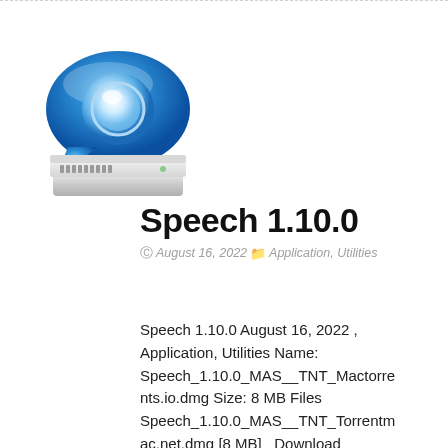[Figure (logo): Blue speech bubble icon with a white circle/glowing orb in the center, positioned above a silver/grey Mac-style disk drive or server hardware base. The speech bubble is glossy blue with highlights.]
Speech 1.10.0
August 16, 2022  Application, Utilities
Speech 1.10.0 August 16, 2022 , Application, Utilities Name: Speech_1.10.0_MAS__TNT_Mactorrents.io.dmg Size: 8 MB Files Speech_1.10.0_MAS__TNT_Torrentmac.net.dmg [8 MB]   Download           Speech 1.10.0 MAS macOS Speech combines...